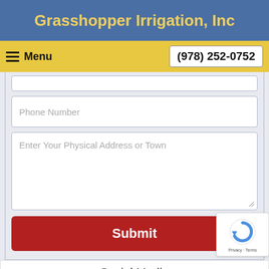Grasshopper Irrigation, Inc
Menu   (978) 252-0752
Phone Number
Enter Your Physical Address or Town
Submit
Social Media